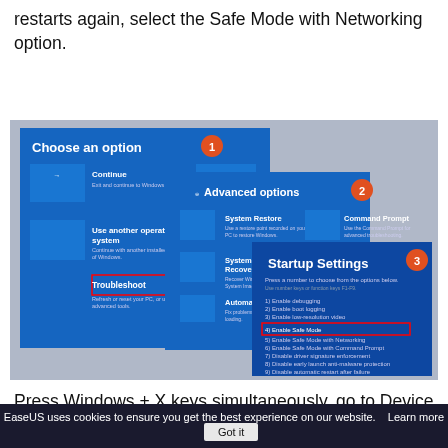restarts again, select the Safe Mode with Networking option.
[Figure (screenshot): Windows recovery environment screenshot sequence showing: 1) Choose an option screen with Troubleshoot highlighted in red box, 2) Advanced options screen, 3) Startup Settings screen with Enable Safe Mode highlighted in red box. Numbered callouts 1, 2, 3 mark each step.]
Press Windows + X keys simultaneously, go to Device Manager - Display Adapter - Driver - Update Driver - latest updates. Restart your PC to install the green
EaseUS uses cookies to ensure you get the best experience on our website.    Learn more      Got it